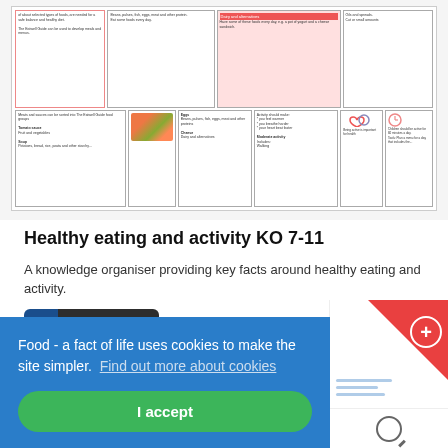[Figure (screenshot): Screenshot of a knowledge organiser about healthy eating and activity, showing a colourful diagram with food groups, activity recommendations and icons.]
Healthy eating and activity KO 7-11
A knowledge organiser providing key facts around healthy eating and activity.
[Figure (other): DOCX file type button with Word icon and 'DOCX' label]
(3.75 Mb)
Download
Food - a fact of life uses cookies to make the site simpler.  Find out more about cookies
I accept